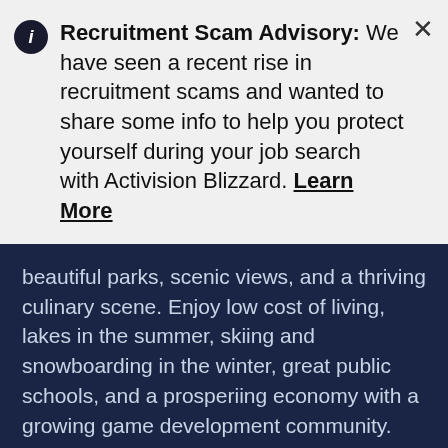Recruitment Scam Advisory: We have seen a recent rise in recruitment scams and wanted to share some info to help you protect yourself during your job search with Activision Blizzard. Learn More
beautiful parks, scenic views, and a thriving culinary scene. Enjoy low cost of living, lakes in the summer, skiing and snowboarding in the winter, great public schools, and a prosperiing economy with a growing game development community.
For over 30 years, Blizzard Albany (formerly Vicarious Visions) has made over 100 exciting games spanning many genres, on a multitude of game platforms, all within a welcoming and relaxed